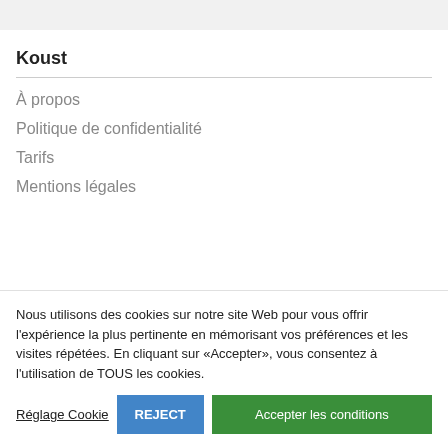Koust
À propos
Politique de confidentialité
Tarifs
Mentions légales
Nous utilisons des cookies sur notre site Web pour vous offrir l'expérience la plus pertinente en mémorisant vos préférences et les visites répétées. En cliquant sur «Accepter», vous consentez à l'utilisation de TOUS les cookies.
Réglage Cookie | REJECT | Accepter les conditions